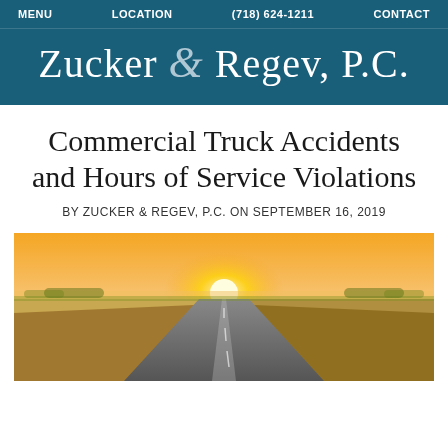MENU   LOCATION   (718) 624-1211   CONTACT
Zucker & Regev, P.C.
Commercial Truck Accidents and Hours of Service Violations
BY ZUCKER & REGEV, P.C. ON SEPTEMBER 16, 2019
[Figure (photo): A highway road stretching into the horizon at sunset, with golden fields on either side and a bright sun low on the horizon.]